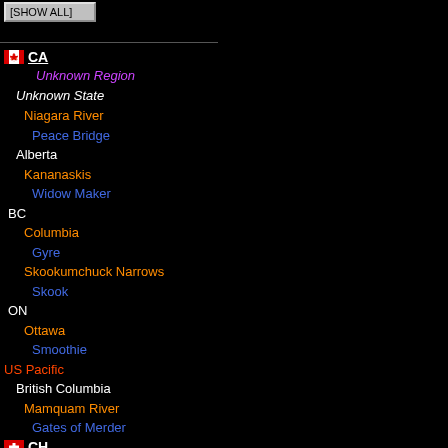[SHOW ALL]
CA
Unknown Region
Unknown State
Niagara River
Peace Bridge
Alberta
Kananaskis
Widow Maker
BC
Columbia
Gyre
Skookumchuck Narrows
Skook
ON
Ottawa
Smoothie
US Pacific
British Columbia
Mamquam River
Gates of Merder
CH
Unknown Region
Berne
Aare
Thun
CN